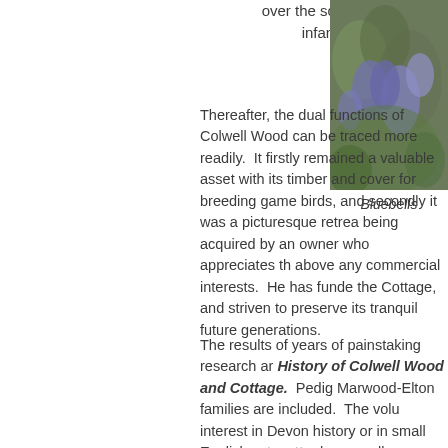over the scenes of my infancy …
[Figure (photo): Photograph of bluebells, purple/blue flowers with green foliage]
Bluebells
Thereafter, the dual functions of Colwell Wood can be traced more readily.  It firstly remained a valuable asset with its timber and cover for breeding game birds, and secondly it was a picturesque retreat being acquired by an owner who appreciates the above any commercial interests.  He has funded the Cottage, and striven to preserve its tranquil future generations.
The results of years of painstaking research and History of Colwell Wood and Cottage.  Pedigrees of Marwood-Elton families are included.  The volume will be of interest in Devon history or in small English estates, no matter how small or apparently insignificant a property, a rich and varied history may emerge.